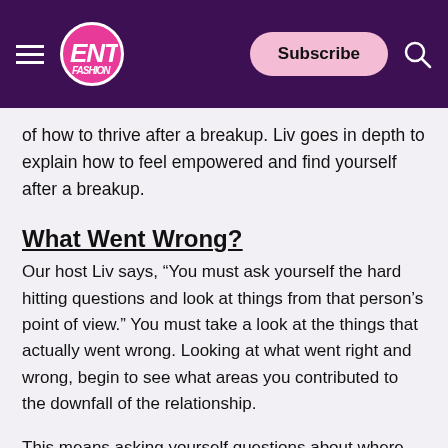ENT FASHION — Subscribe
of how to thrive after a breakup. Liv goes in depth to explain how to feel empowered and find yourself after a breakup.
What Went Wrong?
Our host Liv says, “You must ask yourself the hard hitting questions and look at things from that person’s point of view.” You must take a look at the things that actually went wrong. Looking at what went right and wrong, begin to see what areas you contributed to the downfall of the relationship.
This means asking yourself questions about where you went wrong and what did